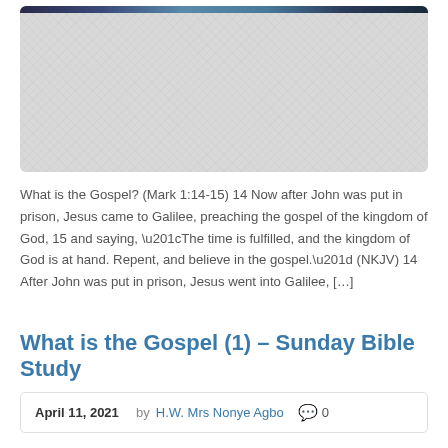[Figure (photo): Hero banner image with dark blue gradient top bar and light gray textured background, partially visible decorative image]
What is the Gospel? (Mark 1:14-15) 14 Now after John was put in prison, Jesus came to Galilee, preaching the gospel of the kingdom of God, 15 and saying, “The time is fulfilled, and the kingdom of God is at hand. Repent, and believe in the gospel.” (NKJV) 14 After John was put in prison, Jesus went into Galilee, […]
What is the Gospel (1) – Sunday Bible Study
April 11, 2021   by H.W. Mrs Nonye Agbo   💬 0